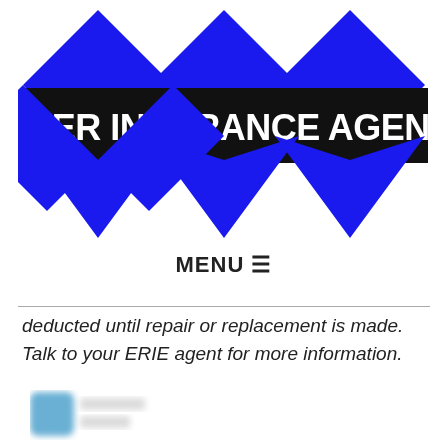[Figure (logo): Weber Insurance Agency logo with three blue diamond shapes and a black banner reading WEBER INSURANCE AGENCY in white bold text]
MENU ☰
deducted until repair or replacement is made. Talk to your ERIE agent for more information.
[Figure (other): Blurred social media icon in bottom left area]